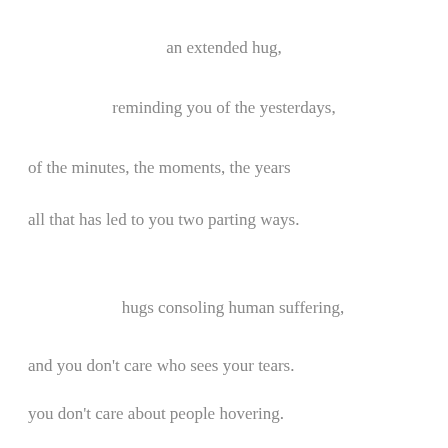an extended hug,
reminding you of the yesterdays,
of the minutes, the moments, the years
all that has led to you two parting ways.
hugs consoling human suffering,
and you don't care who sees your tears.
you don't care about people hovering.